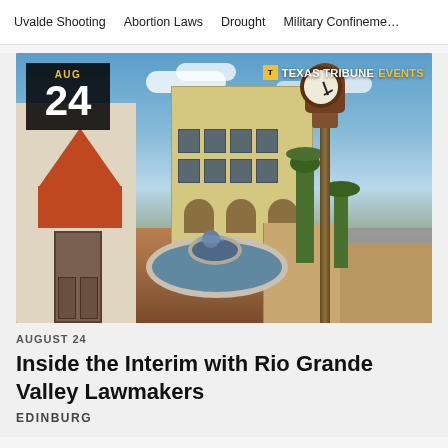Uvalde Shooting   Abortion Laws   Drought   Military Confinement
[Figure (photo): Plaza in Edinburg, Texas with a white fountain in the foreground, a decorative street clock on a tall ornate post to the right, buildings including a yellow multi-story structure in the background, and a small structure with an orange/red tiled pyramid roof on the left. Date badge in upper left shows AUG 24. Texas Tribune Events logo in upper right.]
AUGUST 24
Inside the Interim with Rio Grande Valley Lawmakers
EDINBURG